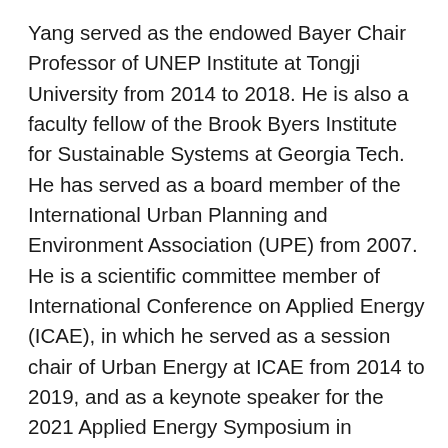Yang served as the endowed Bayer Chair Professor of UNEP Institute at Tongji University from 2014 to 2018. He is also a faculty fellow of the Brook Byers Institute for Sustainable Systems at Georgia Tech. He has served as a board member of the International Urban Planning and Environment Association (UPE) from 2007. He is a scientific committee member of International Conference on Applied Energy (ICAE), in which he served as a session chair of Urban Energy at ICAE from 2014 to 2019, and as a keynote speaker for the 2021 Applied Energy Symposium in September 2021. From 2019 to 2021, he serves as an advisor to the Mayor of Taipei for the City's smart city and urban data policy. Prior to joining the Georgia Tech faculty, he was a Fulbright Scholar and SPURS Fellow at MIT from 1999 to 2000, and an Assistant Professor of Architecture and Urban Design at the National